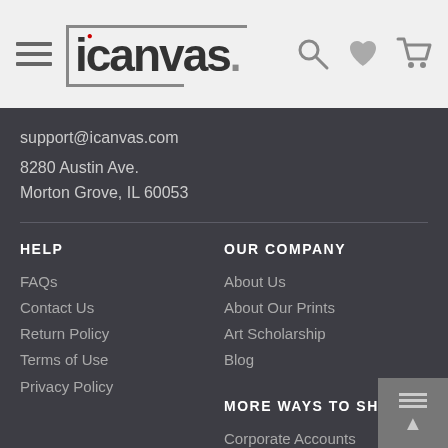icanvas — navigation header with logo, search, wishlist, cart icons
support@icanvas.com
8280 Austin Ave.
Morton Grove, IL 60053
HELP
FAQs
Contact Us
Return Policy
Terms of Use
Privacy Policy
OUR COMPANY
About Us
About Our Prints
Art Scholarship
Blog
MORE WAYS TO SHOP
Corporate Accounts
iCanvas Exclusives